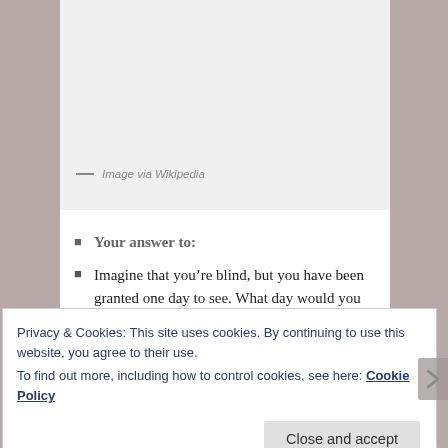— Image via Wikipedia
Your answer to:
Imagine that you're blind, but you have been granted one day to see. What day would you choose?
If I Could Only See for a Day
No offense, but this is an odd question. In any case, I would pick the birth of my child. Of course, it would be nice if the hospital room was located with a view
Privacy & Cookies: This site uses cookies. By continuing to use this website, you agree to their use.
To find out more, including how to control cookies, see here: Cookie Policy
Close and accept